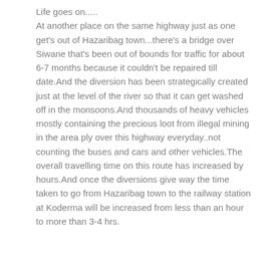Life goes on.....
At another place on the same highway just as one get's out of Hazaribag town...there's a bridge over Siwane that's been out of bounds for traffic for about 6-7 months because it couldn't be repaired till date.And the diversion has been strategically created just at the level of the river so that it can get washed off in the monsoons.And thousands of heavy vehicles mostly containing the precious loot from illegal mining in the area ply over this highway everyday..not counting the buses and cars and other vehicles.The overall travelling time on this route has increased by hours.And once the diversions give way the time taken to go from Hazaribag town to the railway station at Koderma will be increased from less than an hour to more than 3-4 hrs.